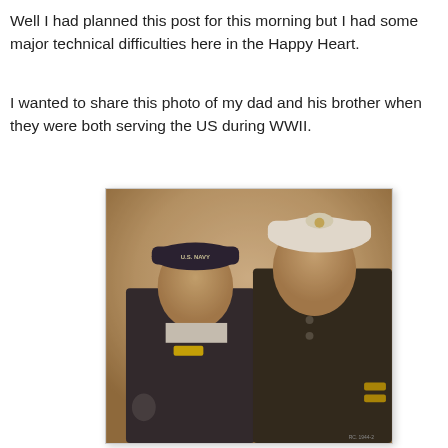Well I had planned this post for this morning but I had some major technical difficulties here in the Happy Heart.
I wanted to share this photo of my dad and his brother when they were both serving the US during WWII.
[Figure (photo): A sepia-toned vintage photograph of two young men in US military uniforms. The man on the left wears a dark US Navy uniform and cap with 'U.S. NAVY' on the brim. The man on the right wears a dark military uniform with a white officer's cap. Both are smiling.]